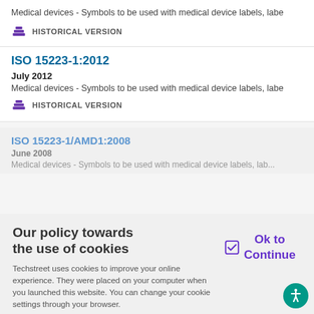Medical devices - Symbols to be used with medical device labels, labe...
HISTORICAL VERSION
ISO 15223-1:2012
July 2012
Medical devices - Symbols to be used with medical device labels, labe...
HISTORICAL VERSION
ISO 15223-1/AMD1:2008
June 2008
Medical devices - Symbols to be used with medical device labels, lab...
Our policy towards the use of cookies
Techstreet uses cookies to improve your online experience. They were placed on your computer when you launched this website. You can change your cookie settings through your browser.
Ok to Continue